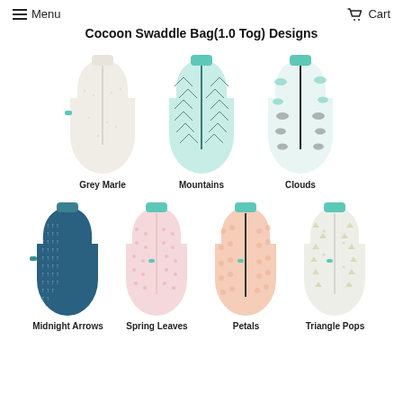≡ Menu    🛒 Cart
Cocoon Swaddle Bag(1.0 Tog) Designs
[Figure (photo): Seven Cocoon Swaddle Bag designs displayed: Grey Marle (plain cream), Mountains (mint with mountain pattern), Clouds (white/mint with cloud pattern), Midnight Arrows (dark teal with arrow pattern), Spring Leaves (pink with leaf pattern), Petals (peach with petal pattern), Triangle Pops (white/grey with triangle pattern)]
Grey Marle
Mountains
Clouds
Midnight Arrows
Spring Leaves
Petals
Triangle Pops